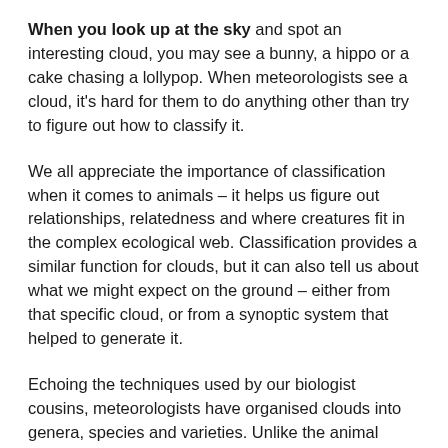When you look up at the sky and spot an interesting cloud, you may see a bunny, a hippo or a cake chasing a lollypop. When meteorologists see a cloud, it's hard for them to do anything other than try to figure out how to classify it.
We all appreciate the importance of classification when it comes to animals – it helps us figure out relationships, relatedness and where creatures fit in the complex ecological web. Classification provides a similar function for clouds, but it can also tell us about what we might expect on the ground – either from that specific cloud, or from a synoptic system that helped to generate it.
Echoing the techniques used by our biologist cousins, meteorologists have organised clouds into genera, species and varieties. Unlike the animal kingdom, though, clouds can move between types, they can grow extra features or lose them, and two different people looking at the exact same cloud from different vantage points can have wildly different ideas about what they are seeing.